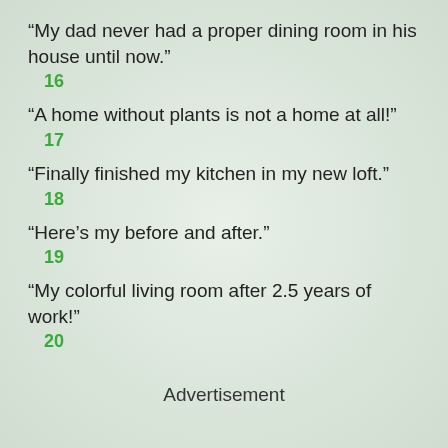“My dad never had a proper dining room in his house until now.”
16
“A home without plants is not a home at all!”
17
“Finally finished my kitchen in my new loft.”
18
“Here’s my before and after.”
19
“My colorful living room after 2.5 years of work!”
20
Advertisement